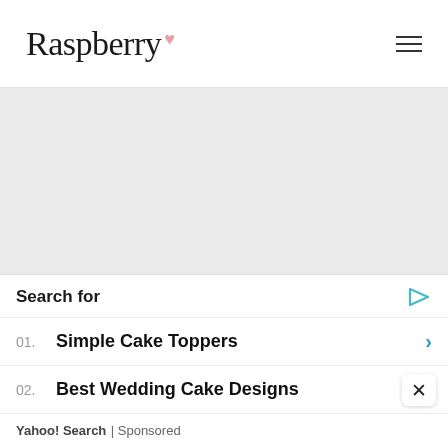Raspberry
[Figure (screenshot): Gray empty content area below the header]
Recommended
[Figure (photo): Wedding photo thumbnail in pinkish-red tones]
What To Do If You Freak Out Like Carrie Bradshaw Wh...
Search for
01. Simple Cake Toppers
02. Best Wedding Cake Designs
Yahoo! Search | Sponsored